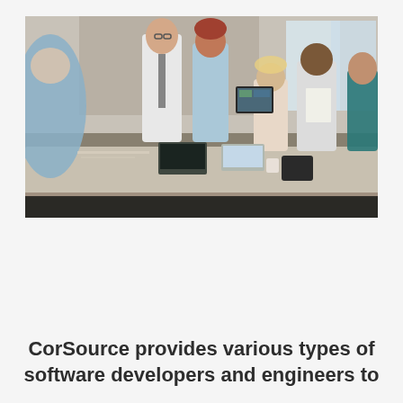[Figure (photo): Group of office workers having a meeting around a conference table. A man and a woman are standing and discussing while others are seated. Laptops, papers, and a camera bag are on the table. Background shows brick walls and windows.]
CorSource provides various types of software developers and engineers to